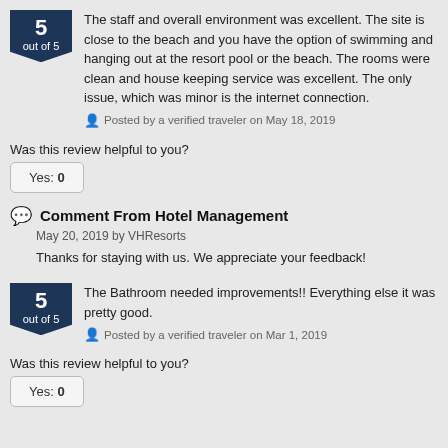The staff and overall environment was excellent. The site is close to the beach and you have the option of swimming and hanging out at the resort pool or the beach. The rooms were clean and house keeping service was excellent. The only issue, which was minor is the internet connection.
Posted by a verified traveler on May 18, 2019
Was this review helpful to you?
Yes: 0
Comment From Hotel Management
May 20, 2019 by VHResorts
Thanks for staying with us. We appreciate your feedback!
The Bathroom needed improvements!! Everything else it was pretty good.
Posted by a verified traveler on Mar 1, 2019
Was this review helpful to you?
Yes: 0